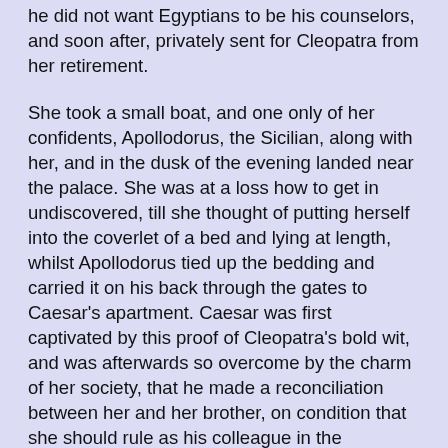he did not want Egyptians to be his counselors, and soon after, privately sent for Cleopatra from her retirement.
She took a small boat, and one only of her confidents, Apollodorus, the Sicilian, along with her, and in the dusk of the evening landed near the palace. She was at a loss how to get in undiscovered, till she thought of putting herself into the coverlet of a bed and lying at length, whilst Apollodorus tied up the bedding and carried it on his back through the gates to Caesar's apartment. Caesar was first captivated by this proof of Cleopatra's bold wit, and was afterwards so overcome by the charm of her society, that he made a reconciliation between her and her brother, on condition that she should rule as his colleague in the kingdom. A festival was kept to celebrate this reconciliation, where Caesar's barber,